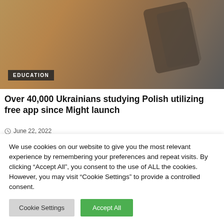[Figure (photo): Close-up photo of hands holding a smartphone, blurred warm background]
EDUCATION
Over 40,000 Ukrainians studying Polish utilizing free app since Might launch
June 22, 2022
[Figure (photo): Exterior of a classical European building with ornate white architecture against a blue sky]
We use cookies on our website to give you the most relevant experience by remembering your preferences and repeat visits. By clicking “Accept All”, you consent to the use of ALL the cookies. However, you may visit "Cookie Settings" to provide a controlled consent.